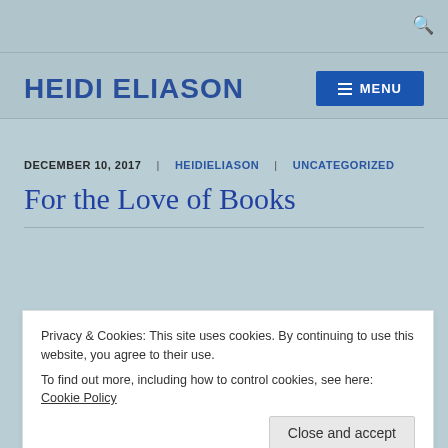HEIDI ELIASON
DECEMBER 10, 2017 | HEIDIELIASON | UNCATEGORIZED
For the Love of Books
Privacy & Cookies: This site uses cookies. By continuing to use this website, you agree to their use. To find out more, including how to control cookies, see here: Cookie Policy
Close and accept